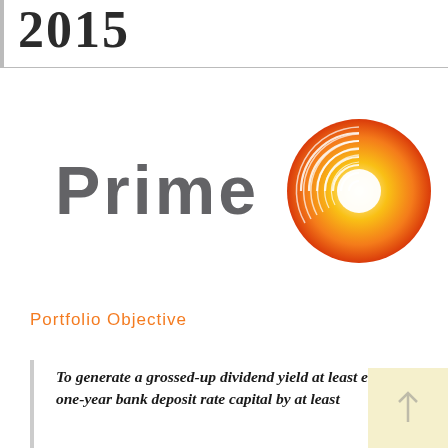2015
[Figure (logo): Prime logo with stylized swirling orange-to-yellow circular icon and bold grey 'Prime' wordmark]
Portfolio Objective
To generate a grossed-up dividend yield at least equal to the one-year bank deposit rate capital by at least